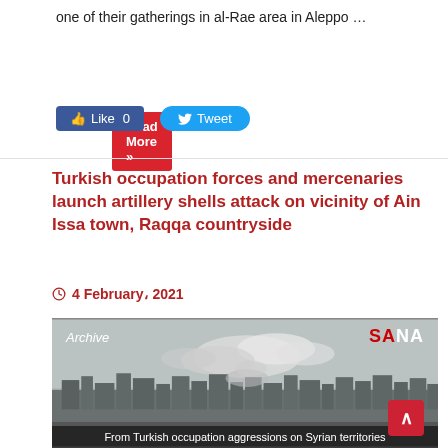one of their gatherings in al-Rae area in Aleppo …
Read More »
Like 0    Tweet
Turkish occupation forces and mercenaries launch artillery shells attack on vicinity of Ain Issa town, Raqqa countryside
4 February, 2021
[Figure (photo): Archive photo from SANA showing smoke rising over a Syrian city skyline, captioned 'From Turkish occupation aggressions on Syrian territories']